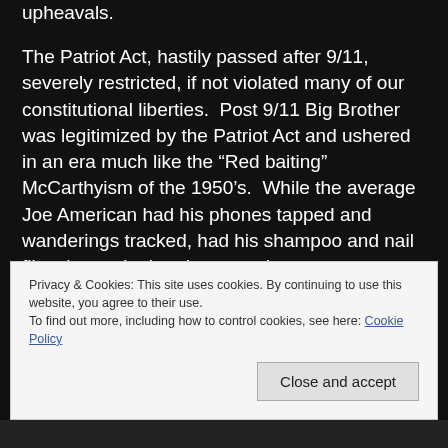upheavals.
The Patriot Act, hastily passed after 9/11, severely restricted, if not violated many of our constitutional liberties.  Post 9/11 Big Brother was legitimized by the Patriot Act and ushered in an era much like the “Red baiting” McCarthyism of the 1950’s.  While the average Joe American had his phones tapped and wanderings tracked, had his shampoo and nail files thrown in the airport trash, no one watched  Wall Street vastly under-secure home mortgages and cause an economic
Privacy & Cookies: This site uses cookies. By continuing to use this website, you agree to their use.
To find out more, including how to control cookies, see here: Cookie Policy
Close and accept